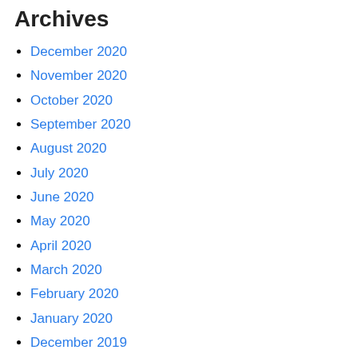Archives
December 2020
November 2020
October 2020
September 2020
August 2020
July 2020
June 2020
May 2020
April 2020
March 2020
February 2020
January 2020
December 2019
November 2019
October 2019
September 2019
August 2019
July 2019